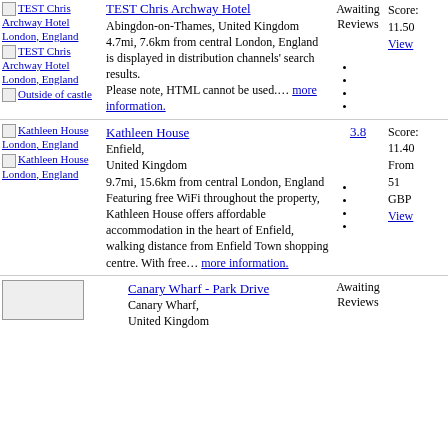TEST Chris Archway Hotel — Abingdon-on-Thames, United Kingdom. 4.7mi, 7.6km from central London, England. is displayed in distribution channels' search results. Please note, HTML cannot be used.… more information. Awaiting Reviews. Score: 11.50. View.
Kathleen House — Enfield, United Kingdom. 9.7mi, 15.6km from central London, England. Featuring free WiFi throughout the property, Kathleen House offers affordable accommodation in the heart of Enfield, walking distance from Enfield Town shopping centre. With free… more information. Rating: 3.8. Score: 11.40. From 51 GBP. View.
Canary Wharf - Park Drive — Canary Wharf, United Kingdom. Awaiting Reviews.